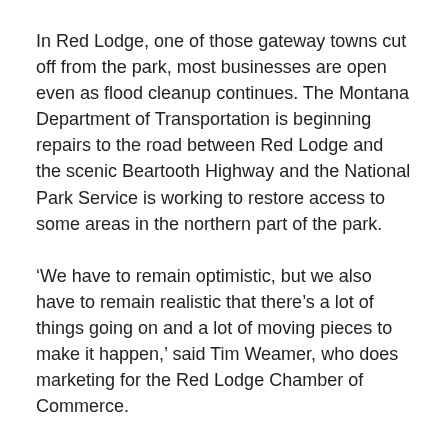In Red Lodge, one of those gateway towns cut off from the park, most businesses are open even as flood cleanup continues. The Montana Department of Transportation is beginning repairs to the road between Red Lodge and the scenic Beartooth Highway and the National Park Service is working to restore access to some areas in the northern part of the park.
‘We have to remain optimistic, but we also have to remain realistic that there’s a lot of things going on and a lot of moving pieces to make it happen,’ said Tim Weamer, who does marketing for the Red Lodge Chamber of Commerce.
‘We’re optimistic that we’ll survive,’ he said. ‘We’re not going to have the summer we were hoping for.’
For others the rebound may come faster. Yellowstone tour guide Derek Draimin said he’s fully booked up Wednesday